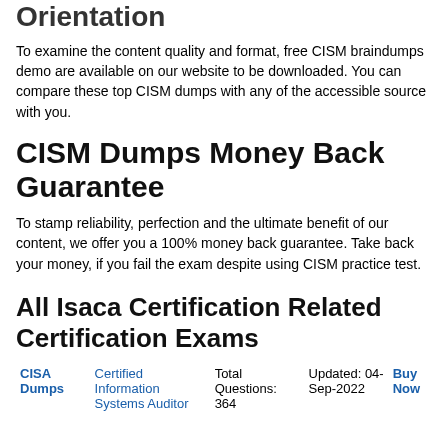Orientation
To examine the content quality and format, free CISM braindumps demo are available on our website to be downloaded. You can compare these top CISM dumps with any of the accessible source with you.
CISM Dumps Money Back Guarantee
To stamp reliability, perfection and the ultimate benefit of our content, we offer you a 100% money back guarantee. Take back your money, if you fail the exam despite using CISM practice test.
All Isaca Certification Related Certification Exams
|  | Certified Information Systems Auditor | Total Questions: 364 | Updated: 04-Sep-2022 | Buy Now |
| --- | --- | --- | --- | --- |
| CISA Dumps | Certified Information Systems Auditor | Total Questions: 364 | Updated: 04-Sep-2022 | Buy Now |